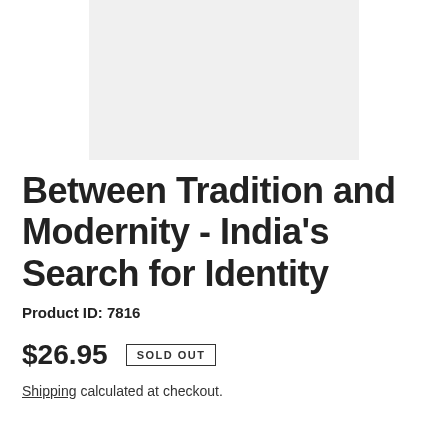[Figure (other): Light gray rectangular placeholder image for a book cover]
Between Tradition and Modernity - India's Search for Identity
Product ID: 7816
$26.95   SOLD OUT
Shipping calculated at checkout.